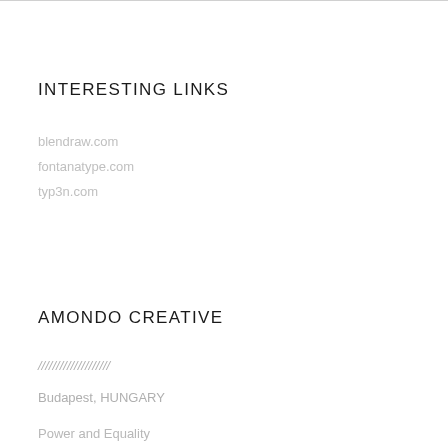INTERESTING LINKS
blendraw.com
fontanatype.com
typ3n.com
AMONDO CREATIVE
////////////////////
Budapest, HUNGARY
Power and Equality